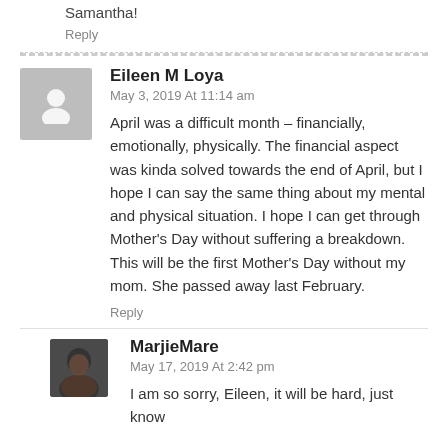Samantha!
Reply
Eileen M Loya
May 3, 2019 At 11:14 am
April was a difficult month – financially, emotionally, physically. The financial aspect was kinda solved towards the end of April, but I hope I can say the same thing about my mental and physical situation. I hope I can get through Mother's Day without suffering a breakdown. This will be the first Mother's Day without my mom. She passed away last February.
Reply
MarjieMare
May 17, 2019 At 2:42 pm
I am so sorry, Eileen, it will be hard, just know